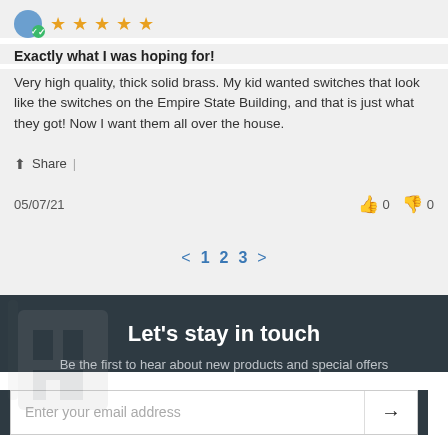★★★★★
Exactly what I was hoping for!
Very high quality, thick solid brass. My kid wanted switches that look like the switches on the Empire State Building, and that is just what they got! Now I want them all over the house.
Share |
05/07/21  👍 0  👎 0
< 1 2 3 >
Let's stay in touch
Be the first to hear about new products and special offers
Enter your email address